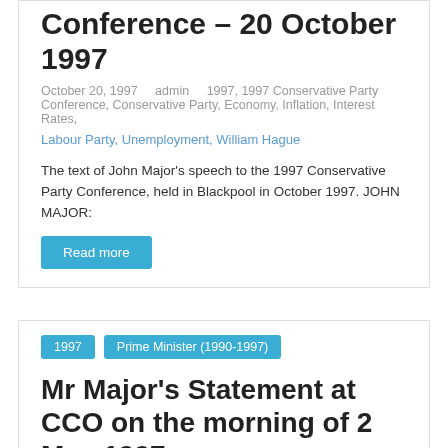Conference – 20 October 1997
October 20, 1997   admin   1997, 1997 Conservative Party Conference, Conservative Party, Economy, Inflation, Interest Rates, Labour Party, Unemployment, William Hague
The text of John Major's speech to the 1997 Conservative Party Conference, held in Blackpool in October 1997. JOHN MAJOR:
Read more
1997   Prime Minister (1990-1997)
Mr Major's Statement at CCO on the morning of 2 May 1997
May 2, 1997   admin   1997, 1997 General Election